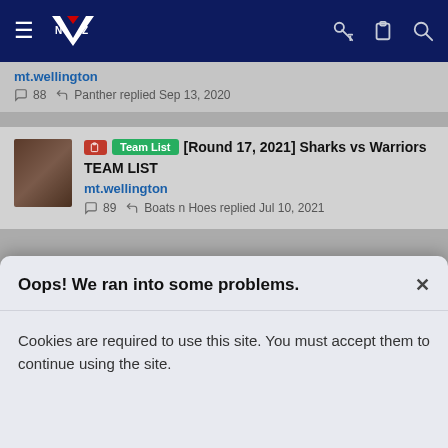Navigation bar with hamburger menu, NZ Warriors logo, key icon, clipboard icon, search icon
mt.wellington
💬 88 · Panther replied Sep 13, 2020
Team List [Round 17, 2021] Sharks vs Warriors TEAM LIST
mt.wellington
💬 89 · Boats n Hoes replied Jul 10, 2021
Warriors Discussion
Oops! We ran into some problems.
Cookies are required to use this site. You must accept them to continue using the site.